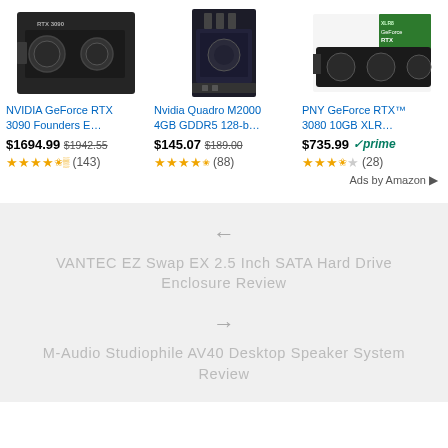[Figure (screenshot): Amazon ad: NVIDIA GeForce RTX 3090 Founders Edition GPU product image]
NVIDIA GeForce RTX 3090 Founders E…
$1694.99 $1942.55
★★★★½ (143)
[Figure (screenshot): Amazon ad: Nvidia Quadro M2000 4GB GDDR5 GPU product image]
Nvidia Quadro M2000 4GB GDDR5 128-b…
$145.07 $189.00
★★★★½ (88)
[Figure (screenshot): Amazon ad: PNY GeForce RTX 3080 10GB XLR8 GPU product image]
PNY GeForce RTX™ 3080 10GB XLR…
$735.99 prime
★★★½☆ (28)
Ads by Amazon ▷
← VANTEC EZ Swap EX 2.5 Inch SATA Hard Drive Enclosure Review
→ M-Audio Studiophile AV40 Desktop Speaker System Review